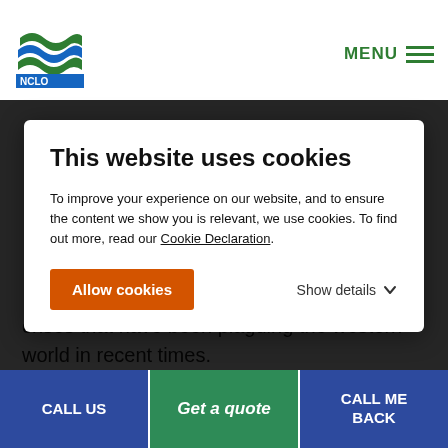NCLO logo and MENU navigation
[Figure (screenshot): Cookie consent modal overlay on a website. Title: 'This website uses cookies'. Body text explains cookie usage and links to Cookie Declaration. Orange 'Allow cookies' button and 'Show details' link with chevron.]
This website uses cookies
To improve your experience on our website, and to ensure the content we show you is relevant, we use cookies. To find out more, read our Cookie Declaration.
crises that have been plaguing the western world in recent times.
Last but by no means least, going beyond the city is a sight
CALL US | Get a quote | CALL ME BACK